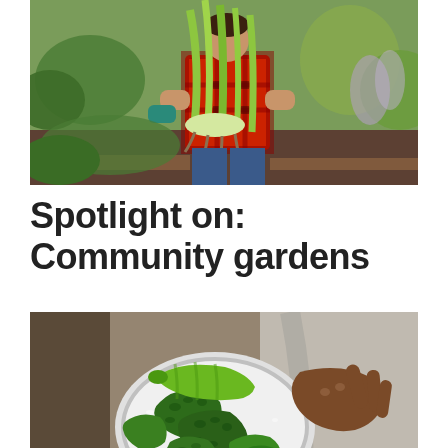[Figure (photo): Person in red plaid shirt kneeling in a community garden, holding large green leek plants with lush vegetable garden in background]
Spotlight on: Community gardens
[Figure (photo): Overhead view of hands sorting fresh green vegetables including bitter melon and other produce in a metal bowl, with feet visible below]